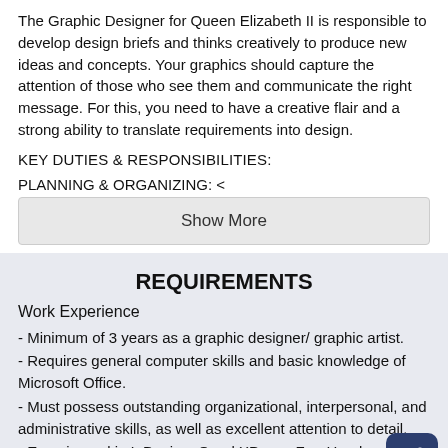The Graphic Designer for Queen Elizabeth II is responsible to develop design briefs and thinks creatively to produce new ideas and concepts. Your graphics should capture the attention of those who see them and communicate the right message. For this, you need to have a creative flair and a strong ability to translate requirements into design.
KEY DUTIES & RESPONSIBILITIES:
PLANNING & ORGANIZING: <
Show More
REQUIREMENTS
Work Experience
- Minimum of 3 years as a graphic designer/ graphic artist.
- Requires general computer skills and basic knowledge of Microsoft Office.
- Must possess outstanding organizational, interpersonal, and administrative skills, as well as excellent attention to detail.
- Experienced in InDesign, QuarkXPress, FreeHand, Illustrator